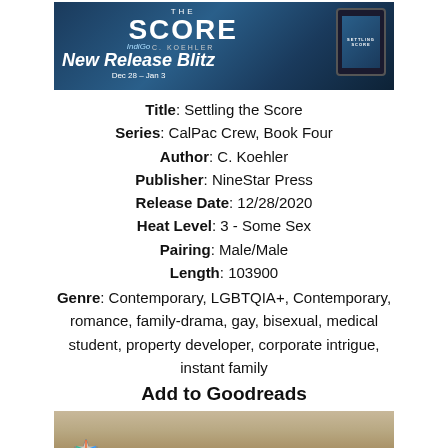[Figure (illustration): Banner image for 'Settling the Score' by C. Koehler — IndiGo New Release Blitz, Dec 28 – Jan 3, with book cover and tablet device shown against a night cityscape background.]
Title: Settling the Score
Series: CalPac Crew, Book Four
Author: C. Koehler
Publisher: NineStar Press
Release Date: 12/28/2020
Heat Level: 3 - Some Sex
Pairing: Male/Male
Length: 103900
Genre: Contemporary, LGBTQIA+, Contemporary, romance, family-drama, gay, bisexual, medical student, property developer, corporate intrigue, instant family
Add to Goodreads
[Figure (photo): Photo of a young man with short hair in a soft-focus outdoor setting, with a colorful star logo (NineStar Press) in the lower left corner.]